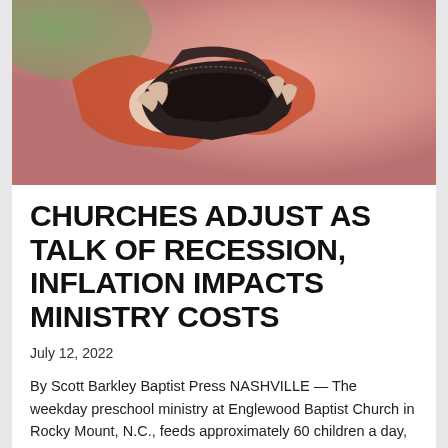[Figure (photo): Close-up of a person in a red/orange garment holding an open empty black leather wallet, with a pink/red blurred background.]
CHURCHES ADJUST AS TALK OF RECESSION, INFLATION IMPACTS MINISTRY COSTS
July 12, 2022
By Scott Barkley Baptist Press NASHVILLE — The weekday preschool ministry at Englewood Baptist Church in Rocky Mount, N.C., feeds approximately 60 children a day, a number that doubles in the fall. Food costs have always